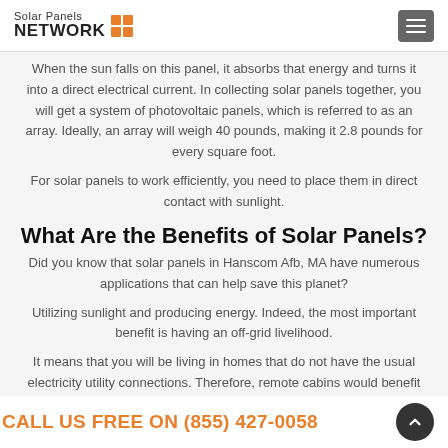Solar Panels NETWORK
When the sun falls on this panel, it absorbs that energy and turns it into a direct electrical current. In collecting solar panels together, you will get a system of photovoltaic panels, which is referred to as an array. Ideally, an array will weigh 40 pounds, making it 2.8 pounds for every square foot.
For solar panels to work efficiently, you need to place them in direct contact with sunlight.
What Are the Benefits of Solar Panels?
Did you know that solar panels in Hanscom Afb, MA have numerous applications that can help save this planet?
Utilizing sunlight and producing energy. Indeed, the most important benefit is having an off-grid livelihood.
It means that you will be living in homes that do not have the usual electricity utility connections. Therefore, remote cabins would benefit from solar panels.
This way, you can reduce electric utility installation fees from a nearby...
CALL US FREE ON (855) 427-0058